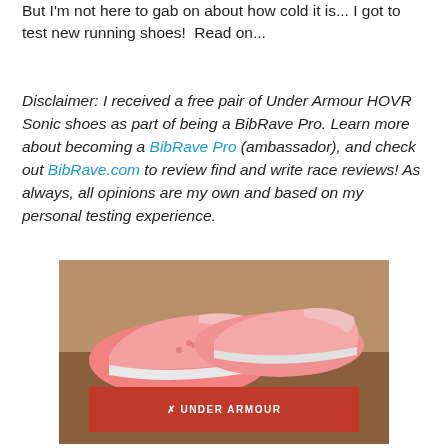But I'm not here to gab on about how cold it is... I got to test new running shoes!  Read on...
Disclaimer: I received a free pair of Under Armour HOVR Sonic shoes as part of being a BibRave Pro. Learn more about becoming a BibRave Pro (ambassador), and check out BibRave.com to review find and write race reviews! As always, all opinions are my own and based on my personal testing experience.
[Figure (photo): Pink Under Armour HOVR Sonic running shoes displayed on top of a red Under Armour shoe box on a wooden surface]